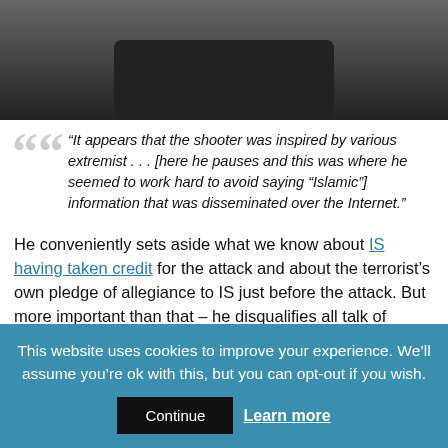[Figure (photo): A man in a dark suit with a striped tie, photographed from the chest up in what appears to be an official or government setting.]
“It appears that the shooter was inspired by various extremist . . . [here he pauses and this was where he seemed to work hard to avoid saying “Islamic”] information that was disseminated over the Internet.”
He conveniently sets aside what we know about IS having taken credit for the attack and about the terrorist’s own pledge of allegiance to IS just before the attack. But more important than that – he disqualifies all talk of Islamic terror as illegitimate. He is not as brave as Naima Nas, the Egyptian woman who implored Muslims to take a deep hard look at themselves.
This website uses cookies to improve your experience. We’ll assume you’re ok with this, but you can opt-out if you wish.